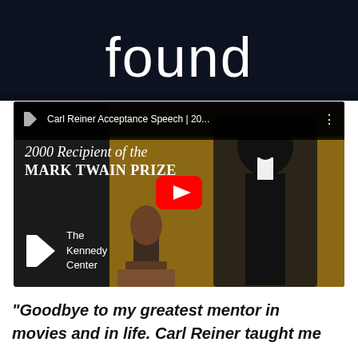[Figure (screenshot): Dark blue/black background with white text 'found' at the bottom, appearing to be a partial title or heading]
[Figure (screenshot): YouTube video thumbnail showing Carl Reiner Acceptance Speech | 20... for the 2000 Recipient of the MARK TWAIN PRIZE, featuring a man in a tuxedo standing next to a bust trophy, with Kennedy Center logo in bottom left and a red YouTube play button in the center]
“Goodbye to my greatest mentor in movies and in life. Carl Reiner taught me